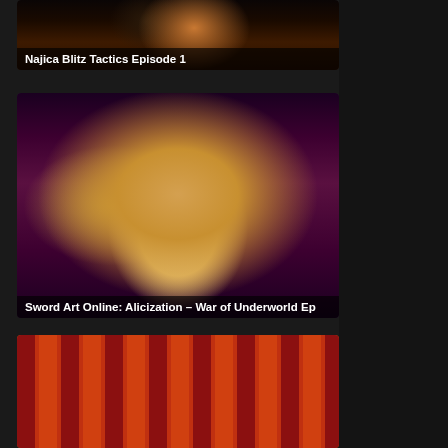[Figure (screenshot): Anime screenshot thumbnail for Najica Blitz Tactics Episode 1 with dark background and character imagery]
Najica Blitz Tactics Episode 1
[Figure (screenshot): Anime screenshot thumbnail for Sword Art Online: Alicization – War of Underworld episode showing a blonde character]
Sword Art Online: Alicization – War of Underworld Ep
[Figure (screenshot): Anime screenshot thumbnail showing two anime characters with green accessories against a striped orange/red background]